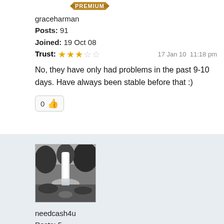[Figure (logo): Gold premium badge banner]
graceharman
Posts: 91
Joined: 19 Oct 08
Trust: ★★★☆☆   17 Jan 10 11:18 pm
No, they have only had problems in the past 9-10 days. Have always been stable before that :)
[Figure (other): Like button with thumbs up icon showing count 0]
[Figure (photo): Black and white photo of a waterfall]
needcash4u
Posts: 5
Joined: 22 Nov 09
Trust: ☆☆☆☆☆   26 Jan 10  5:49 pm
I gave up on AMA.